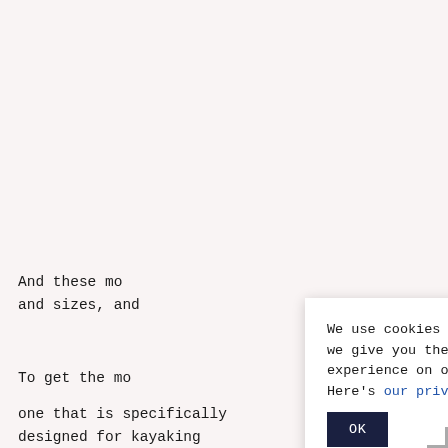And these mo and sizes, and
To get the mo one that is specifically designed for kayaking
[Figure (screenshot): Cookie consent banner overlay with text: 'We use cookies to ensure that we give you the best experience on our website. Here's our privacy.' with a link 'our privacy' in blue, and an OK button with dark navy background.]